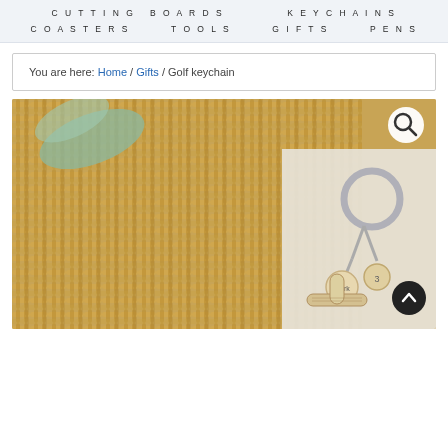CUTTING BOARDS   KEYCHAINS
COASTERS   TOOLS   GIFTS   PENS
You are here: Home / Gifts / Golf keychain
[Figure (photo): Product photo of a golf-themed wooden keychain with a golf club charm, small disc engraved with 'Mark', and a number charm, displayed on a woven basket background with a magnify icon and a scroll-to-top button.]